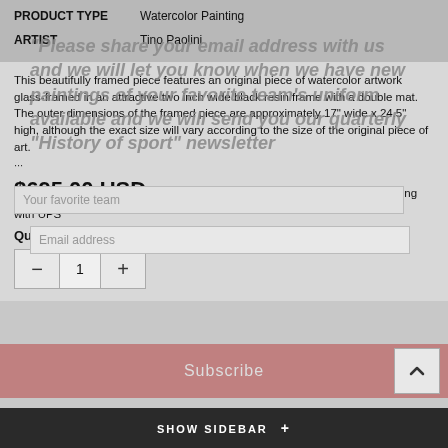| PRODUCT TYPE | Watercolor Painting |
| ARTIST | Tino Paolini |
This beautifully framed piece features an original piece of watercolor artwork glass-framed in an attractive two inch wide black resin frame with a double mat. The outer dimensions of the framed piece are approximately 17" wide x 24.5" high, although the exact size will vary according to the size of the original piece of art.
...
$695.00 USD - Price includes framing as well as fast, free shipping with UPS
Quantity:
Subtotal: $695.00
SHOW SIDEBAR +